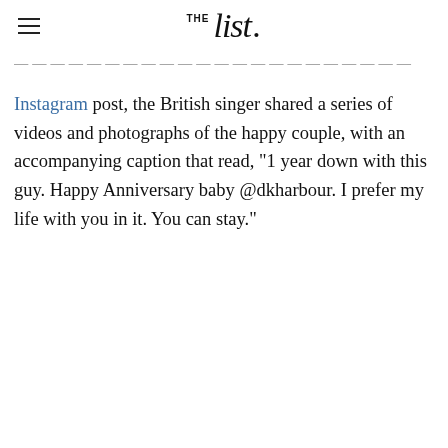THE list.
Instagram post, the British singer shared a series of videos and photographs of the happy couple, with an accompanying caption that read, "1 year down with this guy. Happy Anniversary baby @dkharbour. I prefer my life with you in it. You can stay."